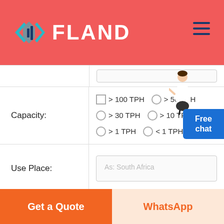[Figure (logo): FLAND logo with geometric diamond/arrow icon in cyan/teal on red background, with white text FLAND]
| Capacity: | > 100 TPH  > 50 TPH  > 30 TPH  > 10 TPH  > 1 TPH  < 1 TPH |
| Use Place: | As: South Africa |
| Name:* | As: Mario |
Get a Quote
WhatsApp